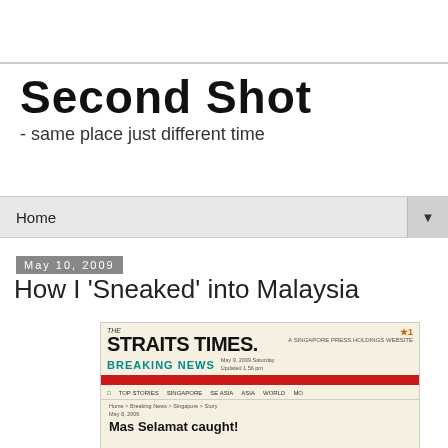Second Shot
- same place just different time
Home
May 10, 2009
How I 'Sneaked' into Malaysia
[Figure (screenshot): Screenshot of The Straits Times website showing breaking news with headline 'Mas Selamat caught!']